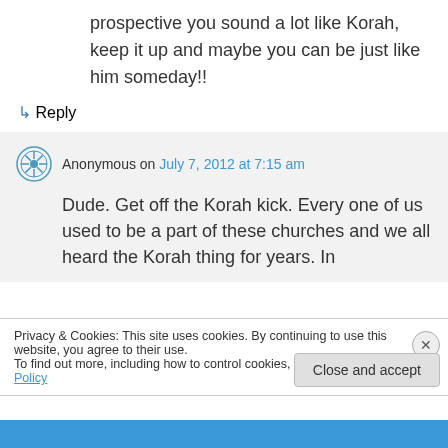prospective you sound a lot like Korah, keep it up and maybe you can be just like him someday!!
↳ Reply
Anonymous on July 7, 2012 at 7:15 am
Dude. Get off the Korah kick. Every one of us used to be a part of these churches and we all heard the Korah thing for years. In
Privacy & Cookies: This site uses cookies. By continuing to use this website, you agree to their use.
To find out more, including how to control cookies, see here: Cookie Policy
Close and accept